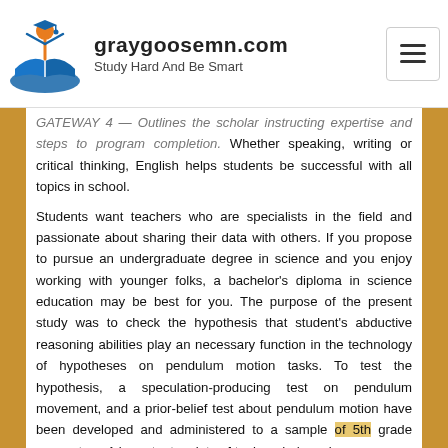graygoosemn.com — Study Hard And Be Smart
GATEWAY 4 — Outlines the scholar instructing expertise and steps to program completion. Whether speaking, writing or critical thinking, English helps students be successful with all topics in school.
Students want teachers who are specialists in the field and passionate about sharing their data with others. If you propose to pursue an undergraduate degree in science and you enjoy working with younger folks, a bachelor's diploma in science education may be best for you. The purpose of the present study was to check the hypothesis that student's abductive reasoning abilities play an necessary function in the technology of hypotheses on pendulum motion tasks. To test the hypothesis, a speculation-producing test on pendulum movement, and a prior-belief test about pendulum motion have been developed and administered to a sample of 5th grade youngsters. A important variety of topics who've prior